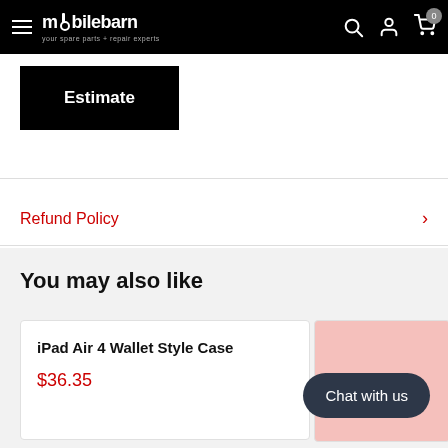mobilebarn — your spare parts + repair experts
Estimate
Refund Policy
You may also like
iPad Air 4 Wallet Style Case
$36.35
Chat with us